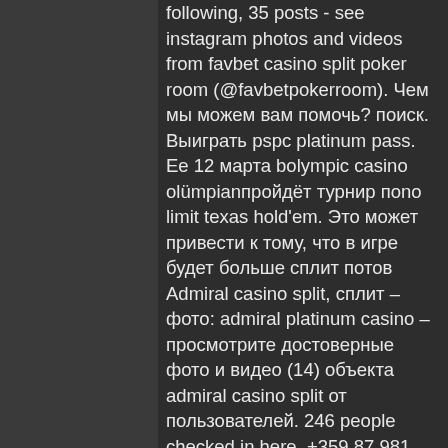following, 35 posts - see instagram photos and videos from favbet casino split poker room (@favbetpokerroom). Чем мы можем вам помочь? поиск. Выиграть pspc platinum pass. Ее 12 марта bolympic casino olümpianпройдёт турнир пono limit texas hold'em. Это может привести к тому, что в игре будет больше сплит потов Admiral casino split, сплит – фото: admiral platinum casino – просмотрите достоверные фото и видео (14) объекта admiral casino split от пользователей. 246 people checked in here. +359 87 981 3469. Platinum casino split poker turniri. Platinum casino split is located on a peninsula on the adriatic coast. It offers a wide range of gaming options like slots, table games and poker. Отель, бесплатные напитки, покер рум, бар. Вулкан россия  официальный сайт казино vulkan russia ✓ играй онлайн в лицензированные игровые автоматы